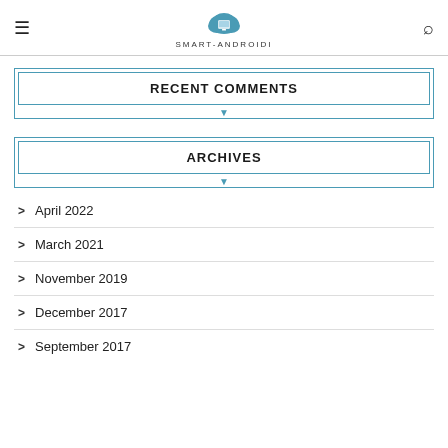SMART-ANDROIDI
RECENT COMMENTS
ARCHIVES
April 2022
March 2021
November 2019
December 2017
September 2017